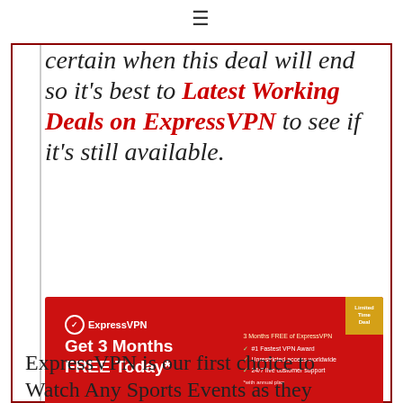≡
certain when this deal will end so it's best to Latest Working Deals on ExpressVPN to see if it's still available.
[Figure (infographic): ExpressVPN advertisement banner: red background, logo top-left, 'Get 3 Months FREE Today*' headline, checklist of features on right, gold corner ribbon, yellow 'Get 3 Months FREE >>' button at bottom]
ExpressVPN is our first choice to Watch Any Sports Events as they